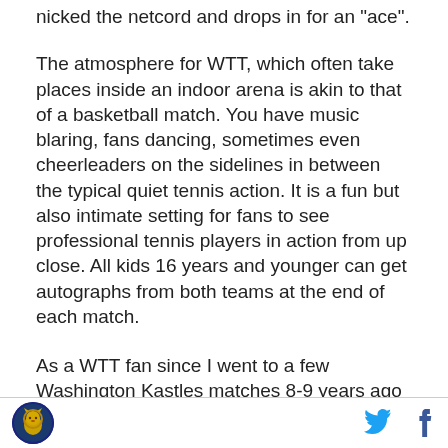nicked the netcord and drops in for an "ace".
The atmosphere for WTT, which often take places inside an indoor arena is akin to that of a basketball match. You have music blaring, fans dancing, sometimes even cheerleaders on the sidelines in between the typical quiet tennis action. It is a fun but also intimate setting for fans to see professional tennis players in action from up close. All kids 16 years and younger can get autographs from both teams at the end of each match.
As a WTT fan since I went to a few Washington Kastles matches 8-9 years ago when I was in graduate school, I opt to volunteer for the local Philadelphia
[logo] [twitter icon] [facebook icon]